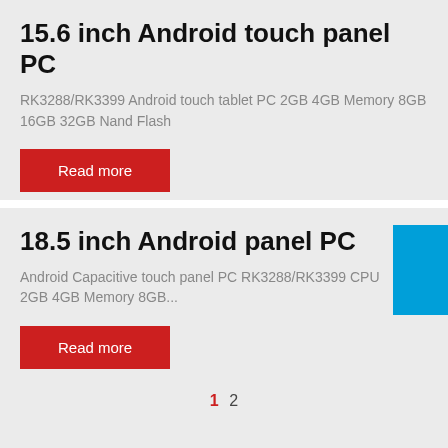15.6 inch Android touch panel PC
RK3288/RK3399 Android touch tablet PC 2GB 4GB Memory 8GB 16GB 32GB Nand Flash
Read more
18.5 inch Android panel PC
Android Capacitive touch panel PC RK3288/RK3399 CPU 2GB 4GB Memory 8GB...
Read more
1  2